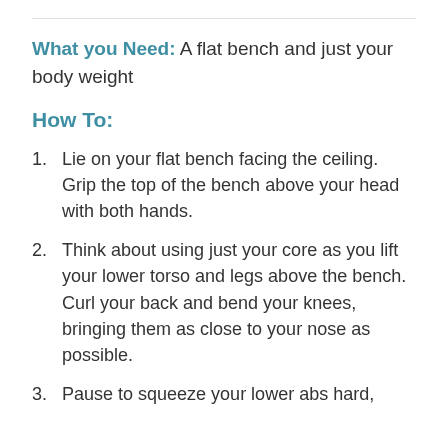What you Need: A flat bench and just your body weight
How To:
Lie on your flat bench facing the ceiling. Grip the top of the bench above your head with both hands.
Think about using just your core as you lift your lower torso and legs above the bench. Curl your back and bend your knees, bringing them as close to your nose as possible.
Pause to squeeze your lower abs hard,